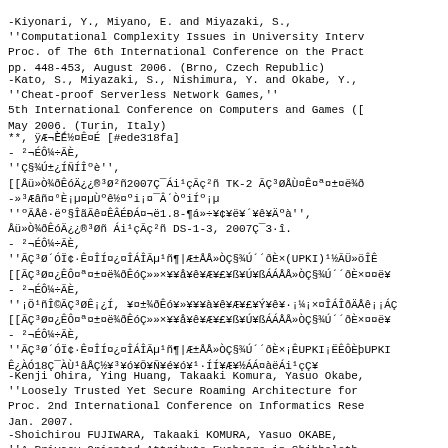-Kiyonari, Y., Miyano, E. and Miyazaki, S.,
''Computational Complexity Issues in University Interv
Proc. of The 6th International Conference on the Pract
pp. 448-453, August 2006. (Brno, Czech Republic)
-Kato, S., Miyazaki, S., Nishimura, Y. and Okabe, Y.,
''Cheat-proof Serverless Network Games,''
5th International Conference on Computers and Games ([
May 2006. (Turin, Italy)
**, ÿÆ¬È¯É½¤Ê¤É [#ede318fa]
- ²¬ÉÔ¼÷ÃÈ,
''Ç§¾Ú±¿ÍÑÍÎºè'',
[[Åü»Ò¾ðÊóÄ¿¿®³Ø²ñ2007Ç¯Ái¹çÃç²ñ TK-2 ÃÇ³ØÅÙ¤Ê¤ª¤±¤ë¾ð
-»³Æâñ¤°È¡µ¤µÙºê½¤ºi¡¤¯Â´ÒºiÍº¡µ
''ºÃÅê·ëº§ÎãÃê¤ÊÂÉÐÁ¤¬ë1.8-¶á»÷¥¢¥ë¥´¥ê¥Äºà'',
Åü»Ò¾ðÊóÄ¿¿®³Øñ Ái¹çÃç²ñ DS-1-3, 2007Ç¯3·î.
- ²¬ÉÔ¼÷ÃÈ,
''ÃÇ³Ø´ÓÏ¢·Ê¤ÎÍ¤¿¤ÎÁÎÃµ¹ñ¶|Æ±ÅÅ»ÒÇ§¾Ú´´ðÈ×(UPKI)¹½ÃÜ»öÎÊ
[[ÃÇ³Ø¤¿ÊÔ¤ª¤±¤ë¾ðÊóÇ»»×¥¥å¥ê¥Æ¥£¥ß¥Ú¥ßÁÁÅÅ»ÒÇ§¾Ú´´ðÈ×¤¤ë¥
- ²¬ÉÔ¼÷ÃÈ,
''¡Ö¹ñÎ©ÃÇ³ØÊ¡¿Í, ¥¤±¾ðÊó¥»¥¥¥à¥ê¥Æ¥£¥Ý¥ê¥·¡¼¡×¤ÎÁÎðÄÅê¡¡ÁÇ
[[ÃÇ³Ø¤¿ÊÔ¤ª¤±¤ë¾ðÊóÇ»»×¥¥å¥ê¥Æ¥£¥ß¥Ú¥ßÁÁÅÅ»ÒÇ§¾Ú´´ðÈ×¤¤ë¥
- ²¬ÉÔ¼÷ÃÈ,
''ÃÇ³Ø´ÓÏ¢·Ê¤ÎÍ¤¿¤ÎÁÎÃµ¹ñ¶|Æ±ÅÅ»ÒÇ§¾Ú´´ðÈ×¡ÊUPKI¡ËÊÔÈþUPKI
Ê¿ÀÓ18Ç¯ÀÙ¹âÅÇ½¥³¥ó¥Õ¥Ñ¥é¥ó¥¹·ÍÍ¥Æ¥½ÁÁ¤àëÁi¹çÇ¥
-Kenji Ohira, Ying Huang, Takaaki Komura, Yasuo Okabe,
''Loosely Trusted Yet Secure Roaming Architecture for
Proc. 2nd International Conference on Informatics Rese
Jan. 2007.
-Shoichirou FUJIWARA, Takaaki KOMURA, Yasuo OKABE,
''A Privacy Oriented Attribute Exchange in Shibboleth